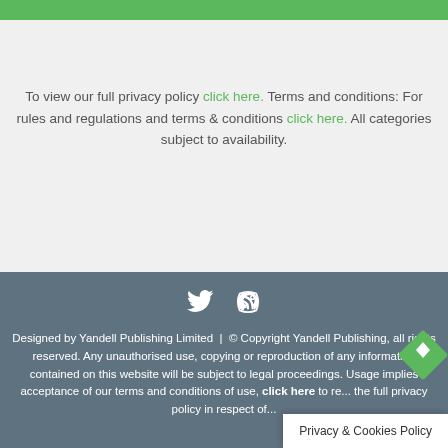To view our full privacy policy click here. Terms and conditions: For rules and regulations and terms & conditions click here. All categories subject to availability.
[Figure (infographic): Twitter bird icon and RSS feed icon in white on dark grey footer background]
Designed by Yandell Publishing Limited | © Copyright Yandell Publishing, all rights reserved. Any unauthorised use, copying or reproduction of any information contained on this website will be subject to legal proceedings. Usage implies acceptance of our terms and conditions of use, click here to re... the full privacy policy in respect of...
Privacy & Cookies Policy